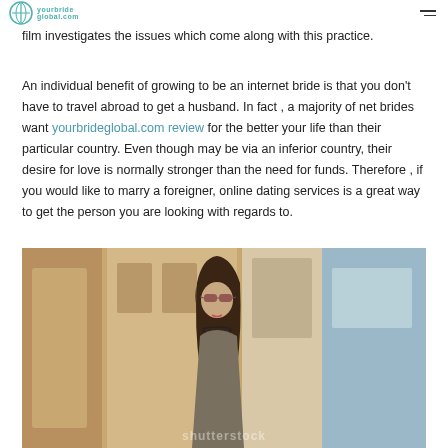yourbrideglobal.com review
film investigates the issues which come along with this practice.
An individual benefit of growing to be an internet bride is that you don't have to travel abroad to get a husband. In fact , a majority of net brides want yourbrideglobal.com review for the better your life than their particular country. Even though may be via an inferior country, their desire for love is normally stronger than the need for funds. Therefore , if you would like to marry a foreigner, online dating services is a great way to get the person you are looking with regards to.
[Figure (photo): A young woman with long brown hair wearing sunglasses and a khaki top, standing outdoors in front of a building, with a shutterstock watermark.]